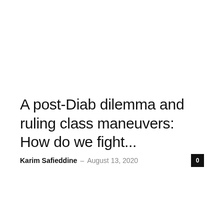A post-Diab dilemma and ruling class maneuvers: How do we fight...
Karim Safieddine – August 13, 2020